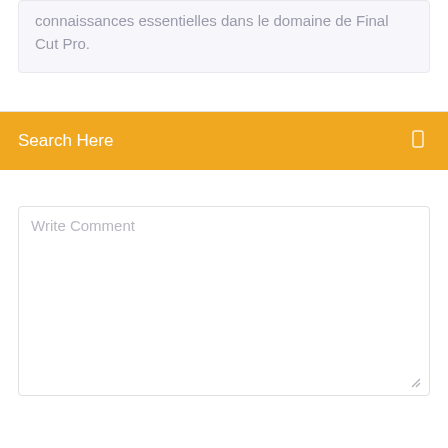connaissances essentielles dans le domaine de Final Cut Pro.
Search Here
Write Comment